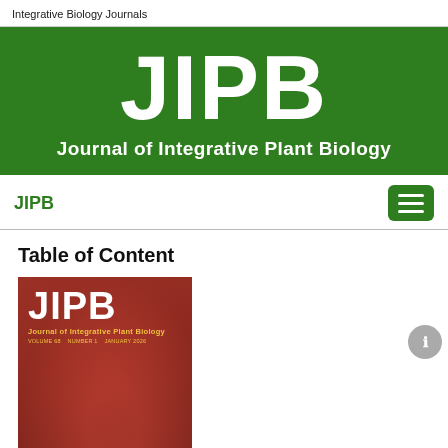Integrative Biology Journals
[Figure (logo): JIPB green banner logo with text 'JIPB' in large white letters and subtitle 'Journal of Integrative Plant Biology']
JIPB
Table of Content
[Figure (photo): Journal cover of JIPB showing red/orange background with large white JIPB text and yellow subtitle 'Journal of Integrative Plant Biology']